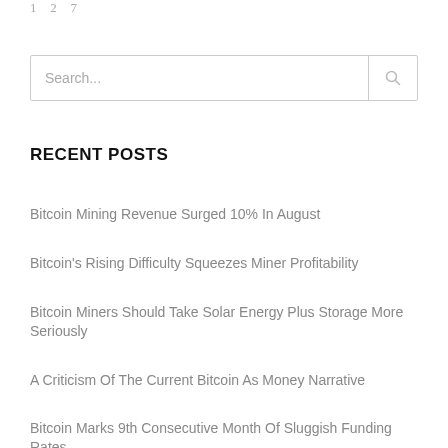1  2  7
Search...
RECENT POSTS
Bitcoin Mining Revenue Surged 10% In August
Bitcoin's Rising Difficulty Squeezes Miner Profitability
Bitcoin Miners Should Take Solar Energy Plus Storage More Seriously
A Criticism Of The Current Bitcoin As Money Narrative
Bitcoin Marks 9th Consecutive Month Of Sluggish Funding Rates